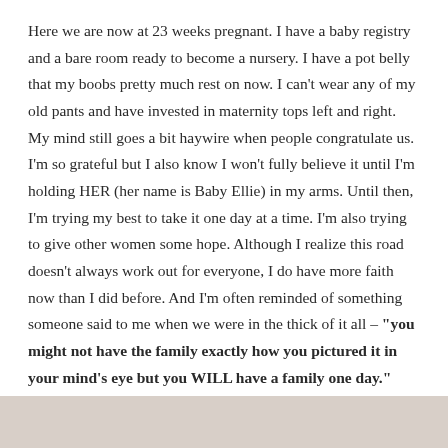Here we are now at 23 weeks pregnant. I have a baby registry and a bare room ready to become a nursery. I have a pot belly that my boobs pretty much rest on now. I can't wear any of my old pants and have invested in maternity tops left and right. My mind still goes a bit haywire when people congratulate us. I'm so grateful but I also know I won't fully believe it until I'm holding HER (her name is Baby Ellie) in my arms. Until then, I'm trying my best to take it one day at a time. I'm also trying to give other women some hope. Although I realize this road doesn't always work out for everyone, I do have more faith now than I did before. And I'm often reminded of something someone said to me when we were in the thick of it all – "you might not have the family exactly how you pictured it in your mind's eye but you WILL have a family one day."
[Figure (photo): Partial bottom strip of a photo, lightly visible at the bottom of the page]